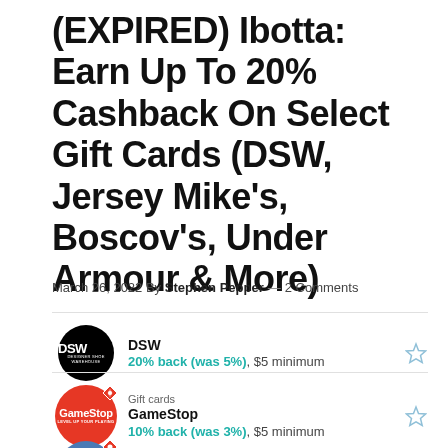(EXPIRED) Ibotta: Earn Up To 20% Cashback On Select Gift Cards (DSW, Jersey Mike's, Boscov's, Under Armour & More)
March 26, 2022 By Stephen Pepper — 2 Comments
[Figure (infographic): DSW gift card offer — DSW logo (black circle with DSW text), 20% back (was 5%), $5 minimum, star bookmark icon]
[Figure (infographic): GameStop gift card offer — GameStop logo (red circle), Gift cards label, 10% back (was 3%), $5 minimum, star bookmark icon]
[Figure (infographic): Partial third gift card offer — blue/teal circle logo partially visible at bottom]